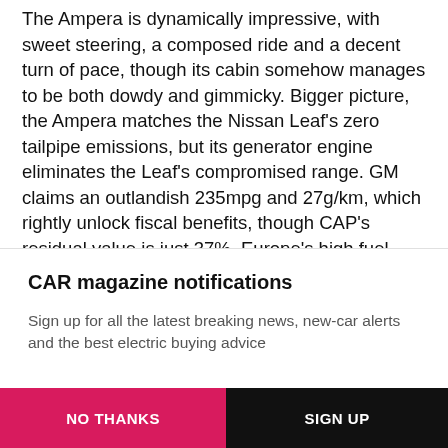The Ampera is dynamically impressive, with sweet steering, a composed ride and a decent turn of pace, though its cabin somehow manages to be both dowdy and gimmicky. Bigger picture, the Ampera matches the Nissan Leaf's zero tailpipe emissions, but its generator engine eliminates the Leaf's compromised range. GM claims an outlandish 235mpg and 27g/km, which rightly unlock fiscal benefits, though CAP's residual value is just 37%. Europe's high fuel prices and our passion for compact cars may make the Ampera more successful here than
CAR magazine notifications
Sign up for all the latest breaking news, new-car alerts and the best electric buying advice
NO THANKS
SIGN UP